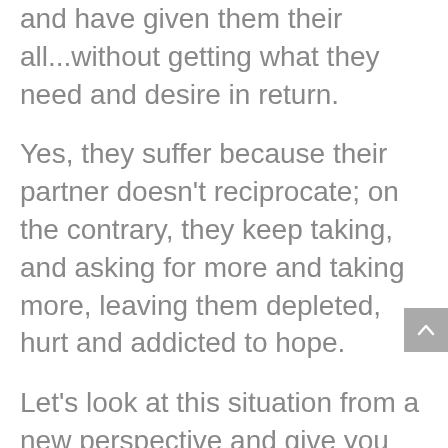and have given them their all...without getting what they need and desire in return.
Yes, they suffer because their partner doesn't reciprocate; on the contrary, they keep taking, and asking for more and taking more, leaving them depleted, hurt and addicted to hope.
Let's look at this situation from a new perspective and give you some empowering tools to dive deep into this pain and turn it around. I invite